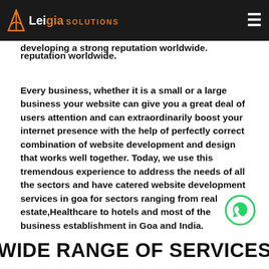Leigia Solutions — navigation bar
maintain the business branding through the web, which will not only help you in maintaining your brand image effectively but will also help you in developing a strong reputation worldwide.
Every business, whether it is a small or a large business your website can give you a great deal of users attention and can extraordinarily boost your internet presence with the help of perfectly correct combination of website development and design that works well together. Today, we use this tremendous experience to address the needs of all the sectors and have catered website development services in goa for sectors ranging from real estate,Healthcare to hotels and most of the business establishment in Goa and India.
WIDE RANGE OF SERVICES